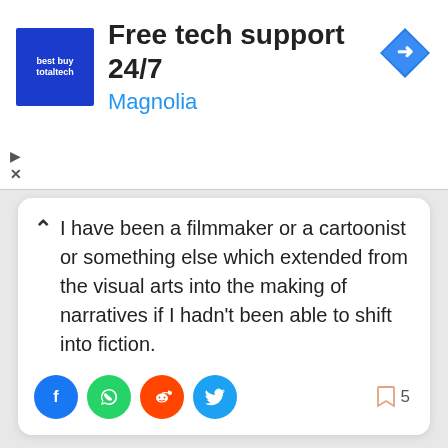[Figure (screenshot): Advertisement banner for 'Free tech support 24/7' by Magnolia with a blue logo and navigation arrow icon]
I have been a filmmaker or a cartoonist or something else which extended from the visual arts into the making of narratives if I hadn't been able to shift into fiction.
[Figure (infographic): Social share buttons: Facebook, WhatsApp, Reddit, Twitter; bookmark icon with count 5]